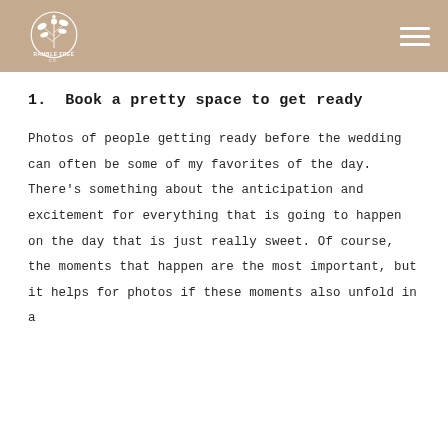Ramble Free Co. — navigation header
1. Book a pretty space to get ready
Photos of people getting ready before the wedding can often be some of my favorites of the day. There's something about the anticipation and excitement for everything that is going to happen on the day that is just really sweet. Of course, the moments that happen are the most important, but it helps for photos if these moments also unfold in a